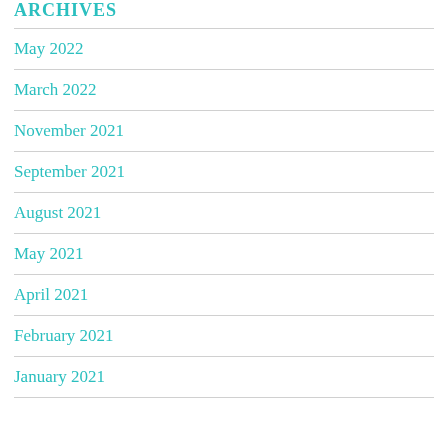ARCHIVES
May 2022
March 2022
November 2021
September 2021
August 2021
May 2021
April 2021
February 2021
January 2021